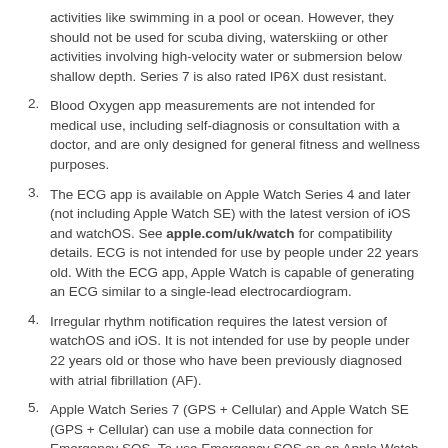(continuation) activities like swimming in a pool or ocean. However, they should not be used for scuba diving, waterskiing or other activities involving high-velocity water or submersion below shallow depth. Series 7 is also rated IP6X dust resistant.
2. Blood Oxygen app measurements are not intended for medical use, including self-diagnosis or consultation with a doctor, and are only designed for general fitness and wellness purposes.
3. The ECG app is available on Apple Watch Series 4 and later (not including Apple Watch SE) with the latest version of iOS and watchOS. See apple.com/uk/watch for compatibility details. ECG is not intended for use by people under 22 years old. With the ECG app, Apple Watch is capable of generating an ECG similar to a single-lead electrocardiogram.
4. Irregular rhythm notification requires the latest version of watchOS and iOS. It is not intended for use by people under 22 years old or those who have been previously diagnosed with atrial fibrillation (AF).
5. Apple Watch Series 7 (GPS + Cellular) and Apple Watch SE (GPS + Cellular) can use a mobile data connection for Emergency SOS. To use Emergency SOS on an Apple Watch without cellular connectivity, your iPhone needs to be nearby. If your iPhone isn't nearby, your Apple Watch needs to be connected to a known Wi-Fi network and you must set up Wi-Fi Calling.
6. The international emergency calling feature requires an Apple Watch Series 6 (GPS + Cellular) or Apple Watch SE (GPS + Cellular) model.